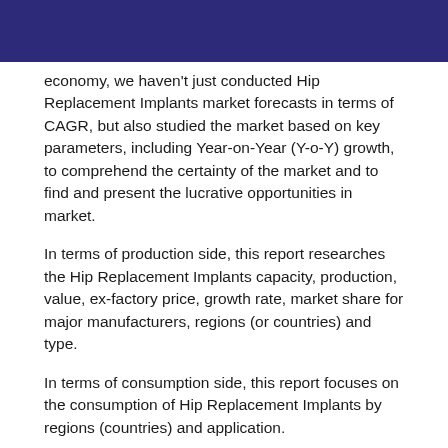economy, we haven't just conducted Hip Replacement Implants market forecasts in terms of CAGR, but also studied the market based on key parameters, including Year-on-Year (Y-o-Y) growth, to comprehend the certainty of the market and to find and present the lucrative opportunities in market.
In terms of production side, this report researches the Hip Replacement Implants capacity, production, value, ex-factory price, growth rate, market share for major manufacturers, regions (or countries) and type.
In terms of consumption side, this report focuses on the consumption of Hip Replacement Implants by regions (countries) and application.
Buyers of the report will have access to verified market figures, including global market size in terms of revenue and volume. As part of production analysis, the authors of